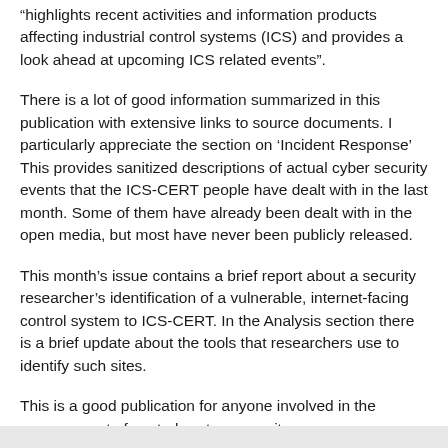“highlights recent activities and information products affecting industrial control systems (ICS) and provides a look ahead at upcoming ICS related events”.
There is a lot of good information summarized in this publication with extensive links to source documents. I particularly appreciate the section on ‘Incident Response’ This provides sanitized descriptions of actual cyber security events that the ICS-CERT people have dealt with in the last month. Some of them have already been dealt with in the open media, but most have never been publicly released.
This month’s issue contains a brief report about a security researcher’s identification of a vulnerable, internet-facing control system to ICS-CERT. In the Analysis section there is a brief update about the tools that researchers use to identify such sites.
This is a good publication for anyone involved in the management of control system security.